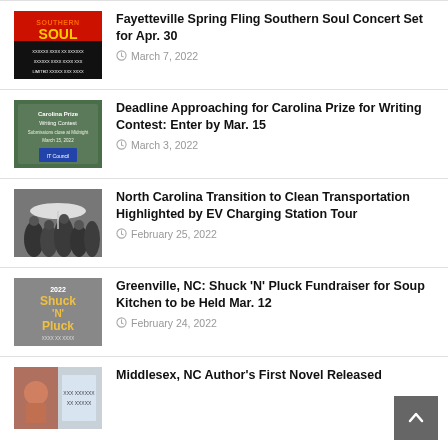Fayetteville Spring Fling Southern Soul Concert Set for Apr. 30
Deadline Approaching for Carolina Prize for Writing Contest: Enter by Mar. 15
North Carolina Transition to Clean Transportation Highlighted by EV Charging Station Tour
Greenville, NC: Shuck ‘N’ Pluck Fundraiser for Soup Kitchen to be Held Mar. 12
Middlesex, NC Author’s First Novel Released